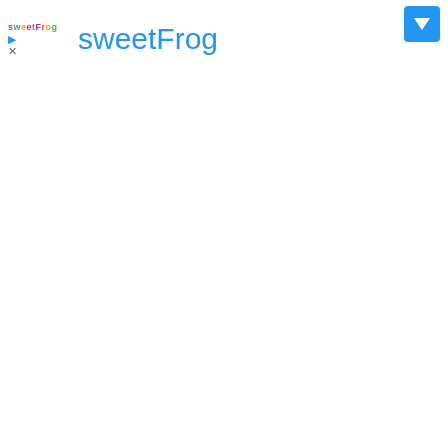[Figure (screenshot): App UI header with sweetFrog logo text in multicolor letters, play icon, close X icon on left side, 'sweetFrog' brand name in blue in center, and a blue dropdown/navigation button in top right corner. Below the header is a collapse/chevron-up button tab on the left side.]
sweetFrog